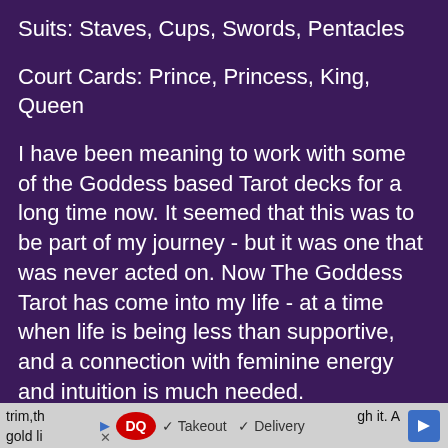Suits: Staves, Cups, Swords, Pentacles
Court Cards: Prince, Princess, King, Queen
I have been meaning to work with some of the Goddess based Tarot decks for a long time now. It seemed that this was to be part of my journey - but it was one that was never acted on. Now The Goddess Tarot has come into my life - at a time when life is being less than supportive, and a connection with feminine energy and intuition is much needed.
The physical formatting of the cards resembles that of the Ancestral Path Tarot. The deck is 3 1/2 " by 4 3/4 ", which is very easy to handle, even with small hands. The backs of the cards have a 1/4" white trim, th...gh it. A gold li...